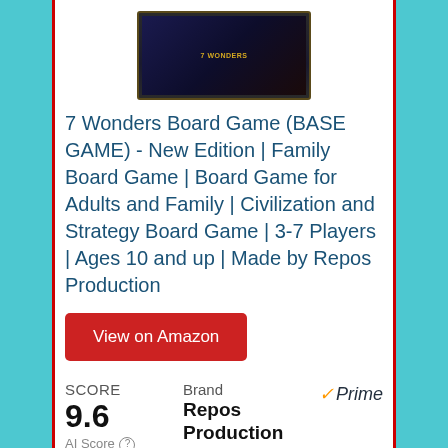[Figure (photo): Product image of 7 Wonders Board Game box at top of page]
7 Wonders Board Game (BASE GAME) - New Edition | Family Board Game | Board Game for Adults and Family | Civilization and Strategy Board Game | 3-7 Players | Ages 10 and up | Made by Repos Production
View on Amazon
SCORE
9.6
AI Score
Brand
Repos Production
Prime
CIVILIZATION WAS BORN FROM